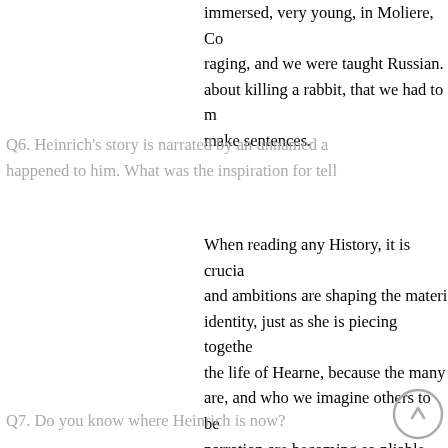immersed, very young, in Moliere, Co raging, and we were taught Russian. about killing a rabbit, that we had to m make sentences.
Q6. Heinrich's story is narrated by an unnamed a happened to him. What was the inspiration for tell
When reading any History, it is crucia and ambitions are shaping the materi identity, just as she is piecing togethe the life of Hearne, because the many are, and who we imagine others to be narration are becoming so pliable, inf invite readers to be curious about wh
Q7. Do you know where Heinrich is now?